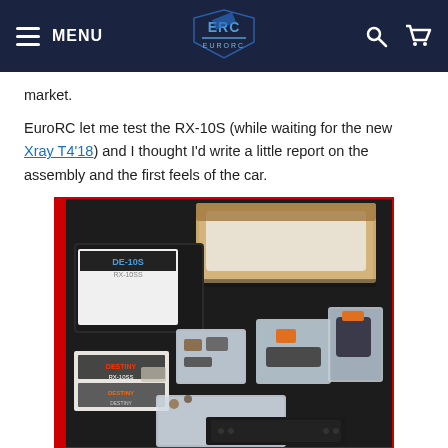MENU | EuroRC logo | Search | Cart
market.
EuroRC let me test the RX-10S (while waiting for the new Xray T4'18) and I thought I'd write a little report on the assembly and the first feels of the car.
[Figure (photo): Photo of an RC car kit unboxed on a red-trimmed black mat, showing the open box with foam insert, instruction manual, plastic bags with parts, stickers, and a chassis plate laid out.]